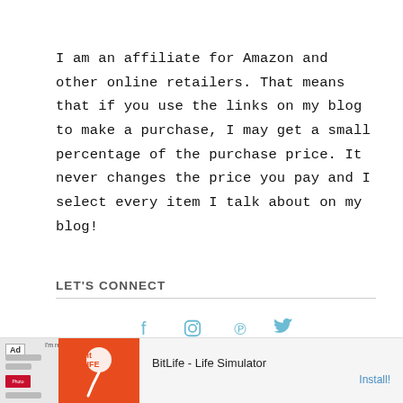I am an affiliate for Amazon and other online retailers. That means that if you use the links on my blog to make a purchase, I may get a small percentage of the purchase price. It never changes the price you pay and I select every item I talk about on my blog!
LET'S CONNECT
[Figure (infographic): Social media icons: Facebook, Instagram, Pinterest, Twitter in teal/cyan color]
[Figure (screenshot): Ad banner for BitLife - Life Simulator app. Shows 'Ad' label, orange graphic with sperm logo, app name 'BitLife - Life Simulator' and 'Install!' button.]